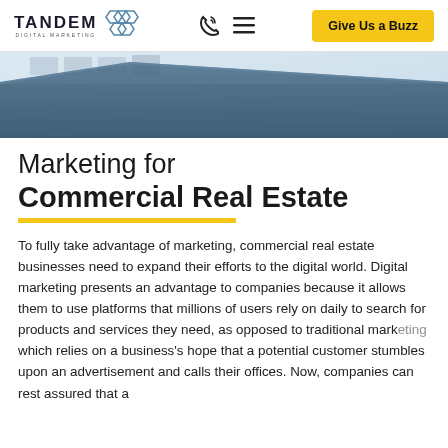TANDEM DIGITAL MARKETING — Give Us a Buzz
[Figure (photo): Aerial or angled view of a modern commercial building with blue/grey tones and geometric roofline]
Marketing for Commercial Real Estate
To fully take advantage of marketing, commercial real estate businesses need to expand their efforts to the digital world. Digital marketing presents an advantage to companies because it allows them to use platforms that millions of users rely on daily to search for products and services they need, as opposed to traditional marketing which relies on a business's hope that a potential customer stumbles upon an advertisement and calls their offices. Now, companies can rest assured that a